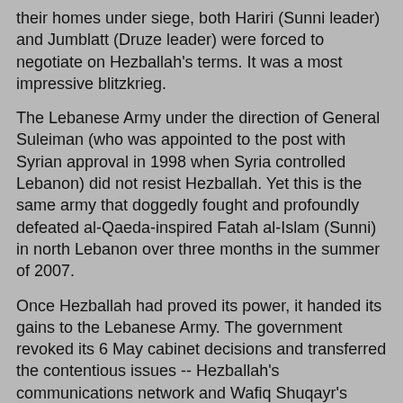their homes under siege, both Hariri (Sunni leader) and Jumblatt (Druze leader) were forced to negotiate on Hezballah's terms. It was a most impressive blitzkrieg.
The Lebanese Army under the direction of General Suleiman (who was appointed to the post with Syrian approval in 1998 when Syria controlled Lebanon) did not resist Hezballah. Yet this is the same army that doggedly fought and profoundly defeated al-Qaeda-inspired Fatah al-Islam (Sunni) in north Lebanon over three months in the summer of 2007.
Once Hezballah had proved its power, it handed its gains to the Lebanese Army. The government revoked its 6 May cabinet decisions and transferred the contentious issues -- Hezballah's communications network and Wafiq Shuqayr's position as chief of airport security -- over to the Army commander General Suleiman who declared both issues null.
Then on 21 May in Qatar (which is according to analyst Barry Rubin "an integral part of the Iran-Syria-Hezballah axis") the Lebanese government capitulated to Hezballah's